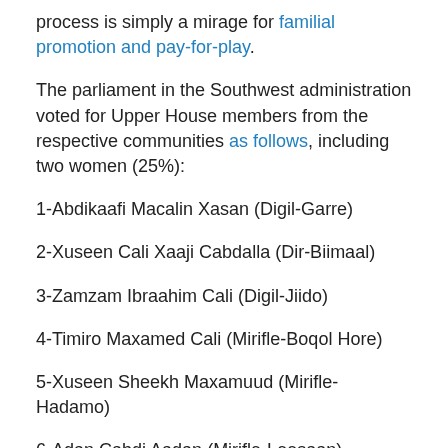process is simply a mirage for familial promotion and pay-for-play.
The parliament in the Southwest administration voted for Upper House members from the respective communities as follows, including two women (25%):
1-Abdikaafi Macalin Xasan (Digil-Garre)
2-Xuseen Cali Xaaji Cabdalla (Dir-Biimaal)
3-Zamzam Ibraahim Cali (Digil-Jiido)
4-Timiro Maxamed Cali (Mirifle-Boqol Hore)
5-Xuseen Sheekh Maxamuud (Mirifle-Hadamo)
6-Adan Cabdi Aadan (Mirifle-Leesaan)
7-Ilyaas Cali Xasan (Mirifle-Falav)